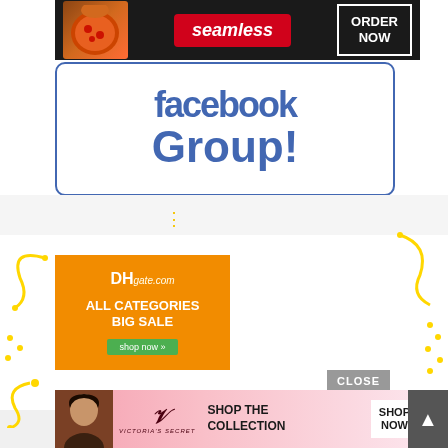[Figure (screenshot): Seamless food delivery banner ad with pizza image, red Seamless logo, and ORDER NOW button on dark background]
[Figure (screenshot): Facebook Group promotional banner with blue Facebook text and 'facebook Group!' in blue bold text on white with blue border]
[Figure (screenshot): DHgate.com orange advertisement banner: ALL CATEGORIES BIG SALE with green shop now button]
[Figure (screenshot): Victoria's Secret pink banner ad: SHOP THE COLLECTION with SHOP NOW button and model photo, with CLOSE button overlay]